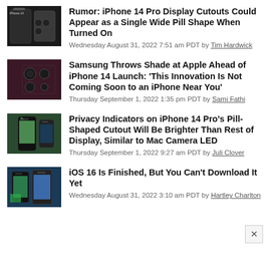[Figure (photo): iPhone 14 device photo with label 'iPhone 14']
Rumor: iPhone 14 Pro Display Cutouts Could Appear as a Single Wide Pill Shape When Turned On
Wednesday August 31, 2022 7:51 am PDT by Tim Hardwick
[Figure (photo): Samsung phone camera array close-up, dark burgundy color]
Samsung Throws Shade at Apple Ahead of iPhone 14 Launch: 'This Innovation Is Not Coming Soon to an iPhone Near You'
Thursday September 1, 2022 1:35 pm PDT by Sami Fathi
[Figure (photo): iPhone 14 Pro with pill-shaped cutout showing green indicator]
Privacy Indicators on iPhone 14 Pro's Pill-Shaped Cutout Will Be Brighter Than Rest of Display, Similar to Mac Camera LED
Thursday September 1, 2022 9:27 am PDT by Juli Clover
[Figure (photo): iOS 16 lock screen on iPhone devices]
iOS 16 Is Finished, But You Can't Download It Yet
Wednesday August 31, 2022 3:10 am PDT by Hartley Charlton